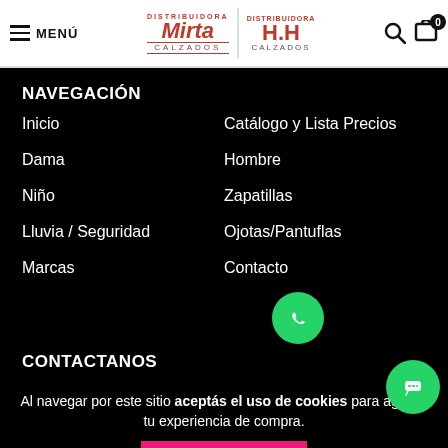MENÚ — Distribuidora Mirta Calzados / Distribuidora H.H Calzados
NAVEGACIÓN
Inicio
Catálogo y Lista Precios
Dama
Hombre
Niño
Zapatillas
Lluvia / Seguridad
Ojotas/Pantuflas
Marcas
Contacto
[Figure (illustration): WhatsApp green circular button icon]
CONTACTANOS
Al navegar por este sitio aceptás el uso de cookies para agilizar tu experiencia de compra.
[Figure (illustration): Green chat bubble button in bottom right corner]